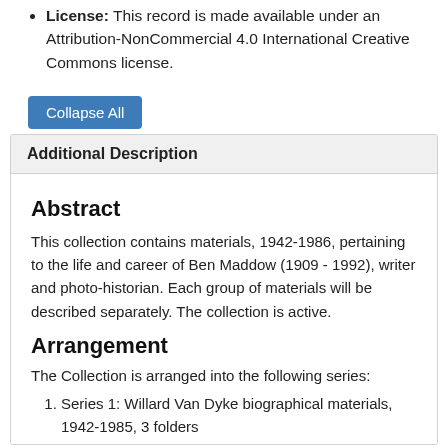License: This record is made available under an Attribution-NonCommercial 4.0 International Creative Commons license.
Additional Description
Abstract
This collection contains materials, 1942-1986, pertaining to the life and career of Ben Maddow (1909 - 1992), writer and photo-historian. Each group of materials will be described separately. The collection is active.
Arrangement
The Collection is arranged into the following series:
Series 1: Willard Van Dyke biographical materials, 1942-1985, 3 folders